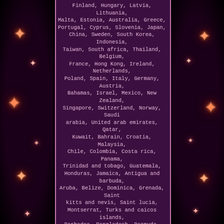Finland, Hungary, Latvia, Lithuania, Malta, Estonia, Australia, Greece, Portugal, Cyprus, Slovenia, Japan, China, Sweden, South Korea, Indonesia, Taiwan, South africa, Thailand, Belgium, France, Hong Kong, Ireland, Netherlands, Poland, Spain, Italy, Germany, Austria, Bahamas, Israel, Mexico, New Zealand, Singapore, Switzerland, Norway, Saudi arabia, United arab emirates, Qatar, Kuwait, Bahrain, Croatia, Malaysia, Chile, Colombia, Costa rica, Panama, Trinidad and tobago, Guatemala, Honduras, Jamaica, Antigua and barbuda, Aruba, Belize, Dominica, Grenada, Saint kitts and nevis, Saint lucia, Montserrat, Turks and caicos islands, Barbados, Bangladesh, Bermuda, Brunei darussalam, Bolivia, Egypt, French guiana, Guernsey, Gibraltar, Guadeloupe, Iceland, Jersey, Jordan, Cambodia, Liechtenstein, Sri lanka, Luxembourg, Monaco, Macao, Martinique, Maldives, Nicaragua, Oman, Pakistan, Paraguay, Reunion, Uruguay.
Type of Advertising: Porcelain Sign Country/Region of Manufacture: United States Theme: Gas & Oil Featured Refinements: Gasoline Sign Brand: Dodge Brothers